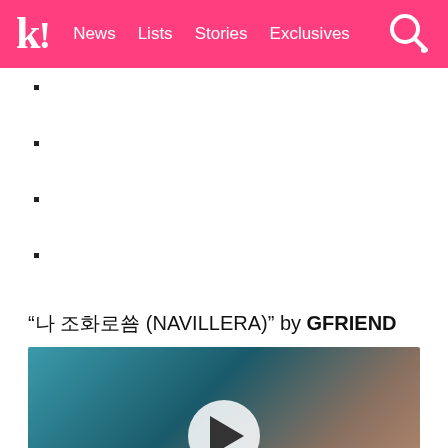k! News Lists Stories Exclusives
“나비야 미둥애 야 (NAVILLERA)” by GFRIEND
[Figure (photo): Video thumbnail showing close-up of hands with a play button overlay, teal/warm toned background]